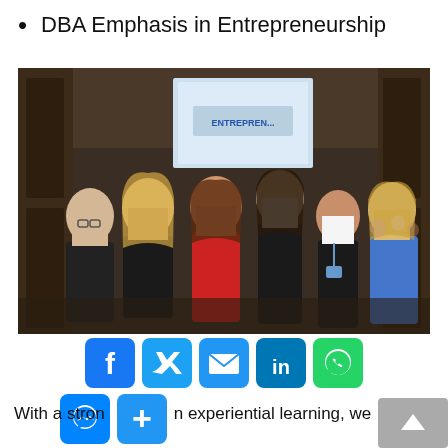DBA Emphasis in Entrepreneurship
[Figure (photo): Group photo of six women standing together in a formal hall with a projection screen showing 'Entrepreneurship' in the background. One woman is wearing a red dress, others in black, white, and blue attire.]
With a strong focus on experiential learning, we